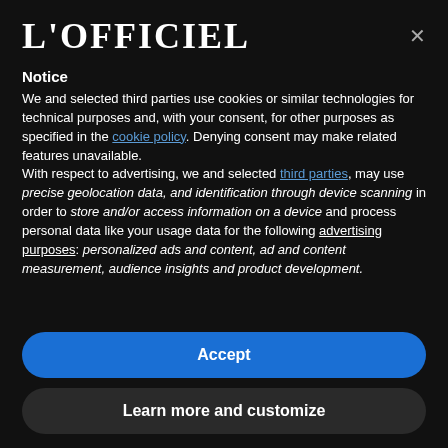[Figure (logo): L'OFFICIEL logo in white serif bold text on black background]
Notice
We and selected third parties use cookies or similar technologies for technical purposes and, with your consent, for other purposes as specified in the cookie policy. Denying consent may make related features unavailable.
With respect to advertising, we and selected third parties, may use precise geolocation data, and identification through device scanning in order to store and/or access information on a device and process personal data like your usage data for the following advertising purposes: personalized ads and content, ad and content measurement, audience insights and product development.
Accept
Learn more and customize